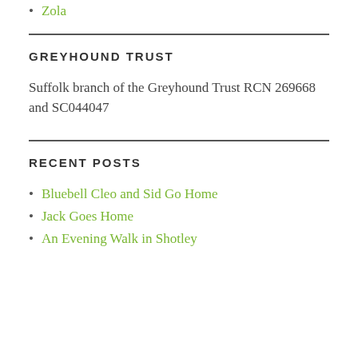Zola
GREYHOUND TRUST
Suffolk branch of the Greyhound Trust RCN 269668 and SC044047
RECENT POSTS
Bluebell Cleo and Sid Go Home
Jack Goes Home
An Evening Walk in Shotley